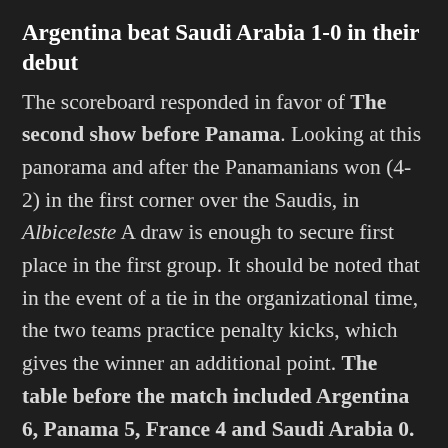Argentina beat Saudi Arabia 1-0 in their debut
The scoreboard responded in favor of The second show before Panama. Looking at this panorama and after the Panamanians won (4-2) in the first corner over the Saudis, in Albiceleste A draw is enough to secure first place in the first group. It should be noted that in the event of a tie in the organizational time, the two teams practice penalty kicks, which gives the winner an additional point. The table before the match included Argentina 6, Panama 5, France 4 and Saudi Arabia 0.
Even in the event of a loss, the national team will have the opportunity to reach the next round: they will go to the semi-finals only as the second best,